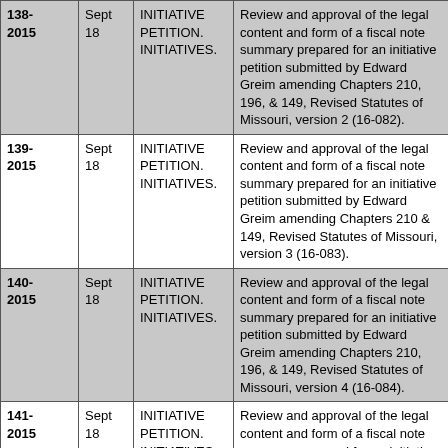| 138-2015 | Sept 18 | INITIATIVE PETITION. INITIATIVES. | Review and approval of the legal content and form of a fiscal note summary prepared for an initiative petition submitted by Edward Greim amending Chapters 210, 196, & 149, Revised Statutes of Missouri, version 2 (16-082). |
| 139-2015 | Sept 18 | INITIATIVE PETITION. INITIATIVES. | Review and approval of the legal content and form of a fiscal note summary prepared for an initiative petition submitted by Edward Greim amending Chapters 210 & 149, Revised Statutes of Missouri, version 3 (16-083). |
| 140-2015 | Sept 18 | INITIATIVE PETITION. INITIATIVES. | Review and approval of the legal content and form of a fiscal note summary prepared for an initiative petition submitted by Edward Greim amending Chapters 210, 196, & 149, Revised Statutes of Missouri, version 4 (16-084). |
| 141-2015 | Sept 18 | INITIATIVE PETITION. INITIATIVES. | Review and approval of the legal content and form of a fiscal note summary prepared for an initiative petition submitted by Edward Greim amending Chapters 210 & 149, Revised Statutes of Missouri, version 5 (16-085). |
| 142-2015 | Sept 18 | INITIATIVE PETITION. INITIATIVES. | Review and approval of the legal content and form of a fiscal note summary prepared for an initiative petition submitted by Edward Greim |